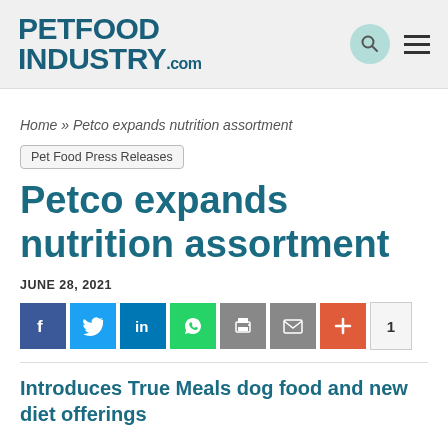PETFOOD INDUSTRY.com
Home » Petco expands nutrition assortment
Pet Food Press Releases
Petco expands nutrition assortment
JUNE 28, 2021
[Figure (infographic): Social share buttons: Facebook, Twitter, LinkedIn, WhatsApp, Print, Email, More (+), and share count 1]
Introduces True Meals dog food and new diet offerings